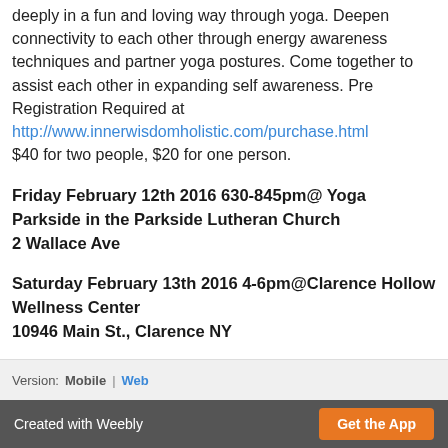deeply in a fun and loving way through yoga. Deepen connectivity to each other through energy awareness techniques and partner yoga postures. Come together to assist each other in expanding self awareness. Pre Registration Required at http://www.innerwisdomholistic.com/purchase.html $40 for two people, $20 for one person.
Friday February 12th 2016 630-845pm@ Yoga Parkside in the Parkside Lutheran Church 2 Wallace Ave
Saturday February 13th 2016 4-6pm@Clarence Hollow Wellness Center 10946 Main St., Clarence NY
Version: Mobile | Web
Created with Weebly  Get the App